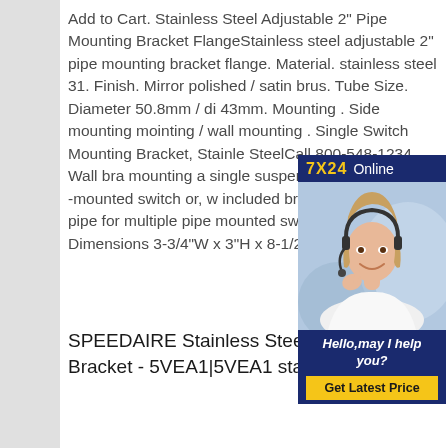Add to Cart. Stainless Steel Adjustable 2" Pipe Mounting Bracket FlangeStainless steel adjustable 2" pipe mounting bracket flange. Material. stainless steel 31. Finish. Mirror polished / satin brus. Tube Size. Diameter 50.8mm / di 43mm. Mounting . Side mounting mointing / wall mounting . Single Switch Mounting Bracket, Stainle SteelCall 800-548-1234. Wall bra mounting a single suspended swi single pipe -mounted switch or, w included bracket , secure a 1" pipe for multiple pipe mounted switches. 316 SS. Dimensions 3-3/4"W x 3"H x 8-1/2"D.
[Figure (photo): 7X24 Online chat widget with photo of a woman wearing a headset, and a 'Hello, may I help you?' message with a 'Get Latest Price' button]
SPEEDAIRE Stainless Steel Mounting Bracket - 5VEA1|5VEA1 stainless pipe